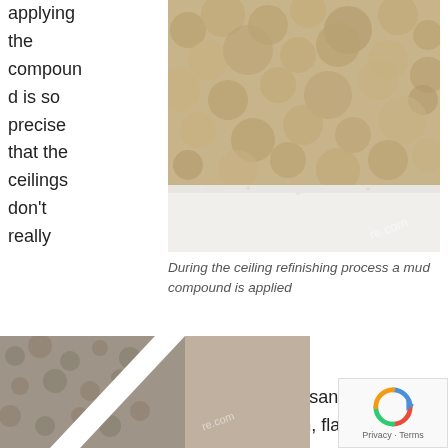applying the compound is so precise that the ceilings don't really need much sanding at all. Just a light sanding and the finished product is revealed: a smooth, flawless surface.
[Figure (photo): Close-up photo of a textured ceiling showing a mud compound applied, with rough, crumbly texture on top and smooth white area below.]
During the ceiling refinishing process a mud compound is applied
[Figure (photo): Photo showing a comparison of two ceiling textures: rough/popcorn texture on the left and smooth refinished surface on the right, divided by a diagonal white line.]
[Figure (logo): reCAPTCHA widget with privacy and terms links.]